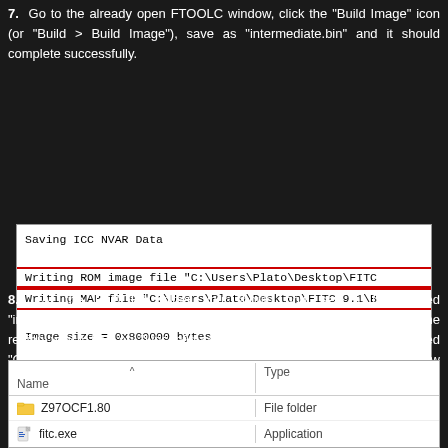7. Go to the already open FTOOLC window, click the "Build Image" icon (or "Build > Build Image"), save as "intermediate.bin" and it should complete successfully.
[Figure (screenshot): Terminal/log output showing: Saving ICC NVAR Data, Writing ROM image file path, Writing MAP file path (highlighted in red), Image size = 0x800000 bytes, -- done -- (highlighted in red border), scrollbar, and Flash Image label]
8. At the FTOOLC folder you should now see a file named "intermediate.bin" which is the dumped SPI/BIOS image with an Engine region which has an "Unconfigured" DATA section without any needed "Configuration" or unneeded "Initialization" information stored. Thus, it now needs to be "Configured".
[Figure (screenshot): Windows file explorer showing columns Name and Type with entries: Z97OCF1.80 (File folder), fitc.exe (Application), fitc.ini (Configuration sett...), and a partially visible fourth file]